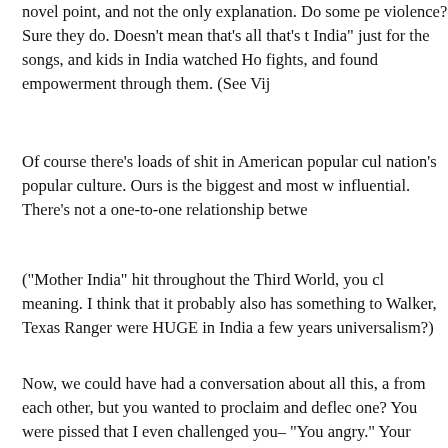novel point, and not the only explanation. Do some pe violence? Sure they do. Doesn't mean that's all that's t India" just for the songs, and kids in India watched Ho fights, and found empowerment through them. (See Vij
Of course there's loads of shit in American popular cul nation's popular culture. Ours is the biggest and most w influential. There's not a one-to-one relationship betwe
("Mother India" hit throughout the Third World, you cl meaning. I think that it probably also has something to Walker, Texas Ranger were HUGE in India a few years universalism?)
Now, we could have had a conversation about all this, a from each other, but you wanted to proclaim and deflec one? You were pissed that I even challenged you– "You angry." Your entire tone from the start was elitist, super about the content of Tarantino's work (your "wanna fuc